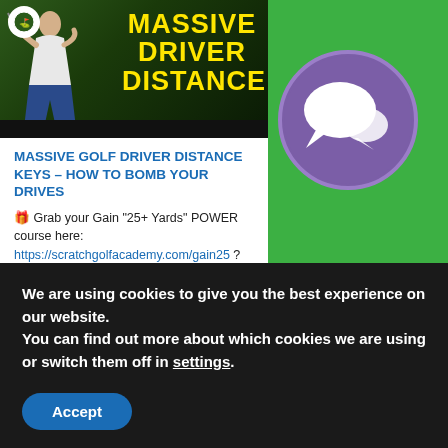[Figure (photo): Screenshot of a website showing a golf instruction article. Top left card: a golfer swinging a driver with bold yellow text 'MASSIVE DRIVER DISTANCE' overlaid. A logo circle is in the top-left corner. Below the image is a black bar. The article title reads 'MASSIVE GOLF DRIVER DISTANCE KEYS – HOW TO BOMB YOUR DRIVES' in blue. Article text below describes a course link and tips. To the right is a green background with a purple circle containing a white chat bubble icon.]
MASSIVE DRIVER DISTANCE
MASSIVE GOLF DRIVER DISTANCE KEYS – HOW TO BOMB YOUR DRIVES
🎁 Grab your Gain "25+ Yards" POWER course here: https://scratchgolfacademy.com/gain25 ? Want to Drop 5 Strokes Off Your Handicap in Just 2 Weeks with Minimal Practice? [Tips]
We are using cookies to give you the best experience on our website.
You can find out more about which cookies we are using or switch them off in settings.
Accept